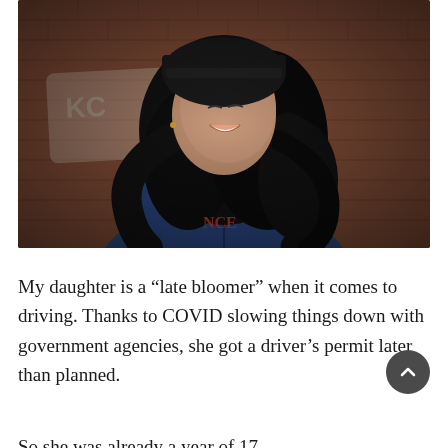[Figure (photo): A young woman with long curly dark hair and a black beanie hat, wearing a denim jacket over a graphic t-shirt, looking upward and smiling, photographed against a brick wall background.]
My daughter is a “late bloomer” when it comes to driving. Thanks to COVID slowing things down with government agencies, she got a driver’s permit later than planned.
So she was already a year of 17...